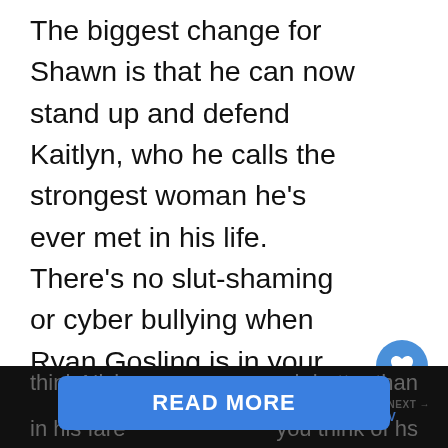The biggest change for Shawn is that he can now stand up and defend Kaitlyn, who he calls the strongest woman he’s ever met in his life. There’s no slut-shaming or cyber bullying when Ryan Gosling is in your corner, and we know how much Kaitlyn loves a guy who fights for her.

That’s a wrap for the 11th season of The Bachelorette, and time will tell if ther wedding bells in this couple’s future. All told, I think Nick … better than in his fare… you think of hs
[Figure (other): Like button (heart icon in blue circle) with count 1, and share button below it. BuddyTV WHAT'S NEXT overlay with logo.]
READ MORE